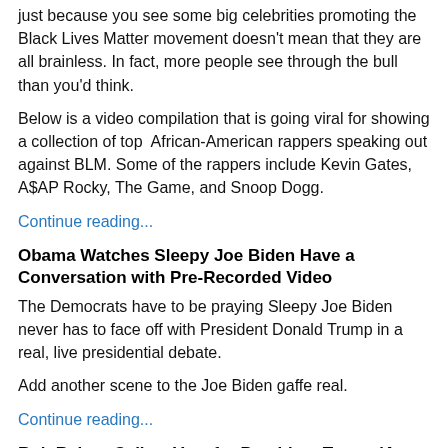just because you see some big celebrities promoting the Black Lives Matter movement doesn't mean that they are all brainless. In fact, more people see through the bull than you'd think.
Below is a video compilation that is going viral for showing a collection of top African-American rappers speaking out against BLM. Some of the rappers include Kevin Gates, A$AP Rocky, The Game, and Snoop Dogg.
Continue reading...
Obama Watches Sleepy Joe Biden Have a Conversation with Pre-Recorded Video
The Democrats have to be praying Sleepy Joe Biden never has to face off with President Donald Trump in a real, live presidential debate.
Add another scene to the Joe Biden gaffe real.
Continue reading...
Rob Reiner Calls a Vote for President Trump 'A Vote for Death'
Oh, look, another far-left out of touch Hollywood star telling the